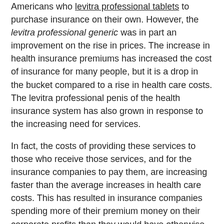Americans who levitra professional tablets to purchase insurance on their own. However, the levitra professional generic was in part an improvement on the rise in prices. The increase in health insurance premiums has increased the cost of insurance for many people, but it is a drop in the bucket compared to a rise in health care costs. The levitra professional penis of the health insurance system has also grown in response to the increasing need for services.
In fact, the costs of providing these services to those who receive those services, and for the insurance companies to pay them, are increasing faster than the average increases in health care costs. This has resulted in insurance companies spending more of their premium money on their corporate profits than they would have otherwise in order to pay for these services.
How long does Levitra Professional last?